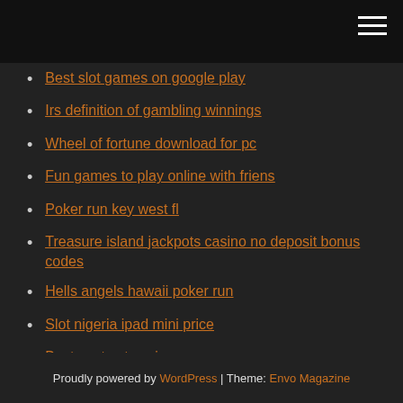Best slot games on google play
Irs definition of gambling winnings
Wheel of fortune download for pc
Fun games to play online with friens
Poker run key west fl
Treasure island jackpots casino no deposit bonus codes
Hells angels hawaii poker run
Slot nigeria ipad mini price
Best seats at casino rama
Play davinci diamonds for fun
Proudly powered by WordPress | Theme: Envo Magazine